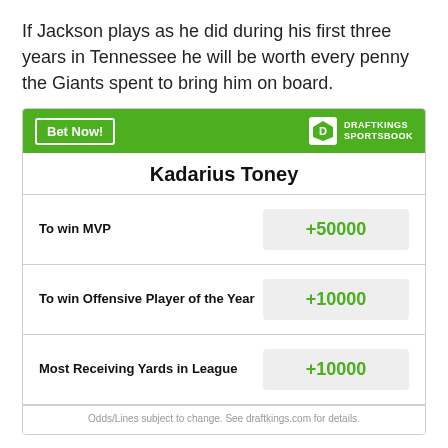If Jackson plays as he did during his first three years in Tennessee he will be worth every penny the Giants spent to bring him on board.
| Bet Type | Odds |
| --- | --- |
| To win MVP | +50000 |
| To win Offensive Player of the Year | +10000 |
| Most Receiving Yards in League | +10000 |
Odds/Lines subject to change. See draftkings.com for details.